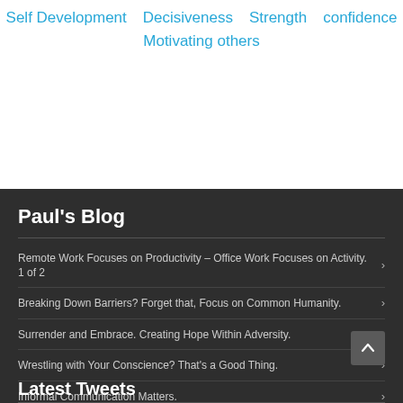Self Development   Decisiveness   Strength   confidence
Motivating others
Paul's Blog
Remote Work Focuses on Productivity – Office Work Focuses on Activity. 1 of 2
Breaking Down Barriers? Forget that, Focus on Common Humanity.
Surrender and Embrace. Creating Hope Within Adversity.
Wrestling with Your Conscience? That's a Good Thing.
Informal Communication Matters.
Latest Tweets